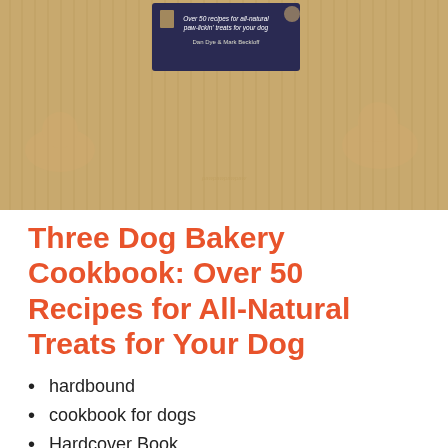[Figure (photo): Book cover of Three Dog Bakery Cookbook showing a tan/wood-grain textured background with dog silhouettes, and a dark navy label in the center showing the book subtitle and authors Dan Dye & Mark Beckloff]
Three Dog Bakery Cookbook: Over 50 Recipes for All-Natural Treats for Your Dog
hardbound
cookbook for dogs
Hardcover Book
Mark Beckloff (Author)
English (Publication Language)